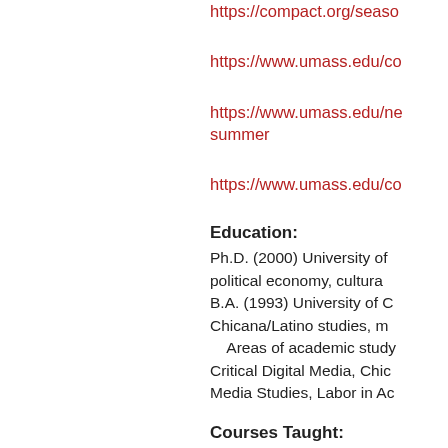https://compact.org/seas...
https://www.umass.edu/co...
https://www.umass.edu/ne... summer
https://www.umass.edu/co...
Education:
Ph.D. (2000) University of ... political economy, cultura... B.A. (1993) University of C... Chicana/Latino studies, m... Areas of academic study... Critical Digital Media, Chic... Media Studies, Labor in Ac...
Courses Taught: